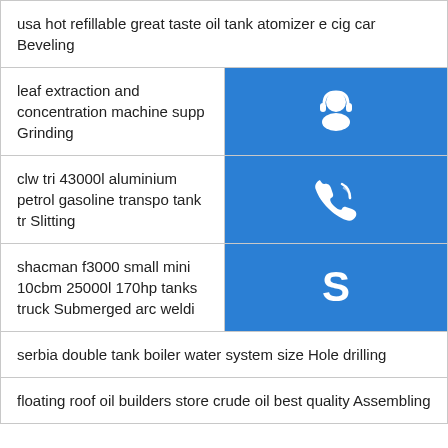usa hot refillable great taste oil tank atomizer e cig car Beveling
leaf extraction and concentration machine supp Grinding
clw tri 43000l aluminium petrol gasoline transpo tank tr Slitting
shacman f3000 small mini 10cbm 25000l 170hp tanks truck Submerged arc weldi
serbia double tank boiler water system size Hole drilling
floating roof oil builders store crude oil best quality Assembling